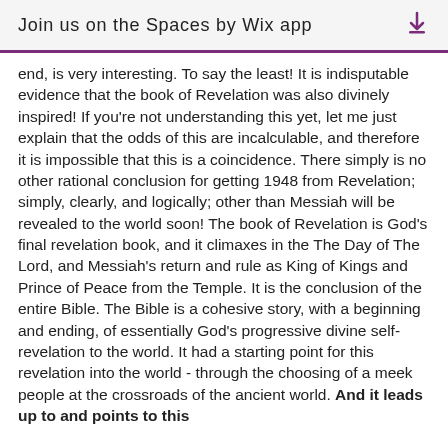Join us on the Spaces by Wix app
end, is very interesting. To say the least! It is indisputable evidence that the book of Revelation was also divinely inspired! If you're not understanding this yet, let me just explain that the odds of this are incalculable, and therefore it is impossible that this is a coincidence. There simply is no other rational conclusion for getting 1948 from Revelation; simply, clearly, and logically; other than Messiah will be revealed to the world soon! The book of Revelation is God's final revelation book, and it climaxes in the The Day of The Lord, and Messiah's return and rule as King of Kings and Prince of Peace from the Temple. It is the conclusion of the entire Bible. The Bible is a cohesive story, with a beginning and ending, of essentially God's progressive divine self-revelation to the world. It had a starting point for this revelation into the world - through the choosing of a meek people at the crossroads of the ancient world. And it leads up to and points to this